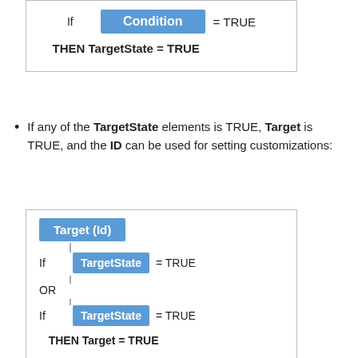[Figure (flowchart): Diagram showing: If [Condition] = TRUE, THEN TargetState = TRUE]
If any of the TargetState elements is TRUE, Target is TRUE, and the ID can be used for setting customizations:
[Figure (flowchart): Diagram showing: Target (Id) -> If [TargetState] = TRUE OR If [TargetState] = TRUE -> THEN Target = TRUE]
Results: